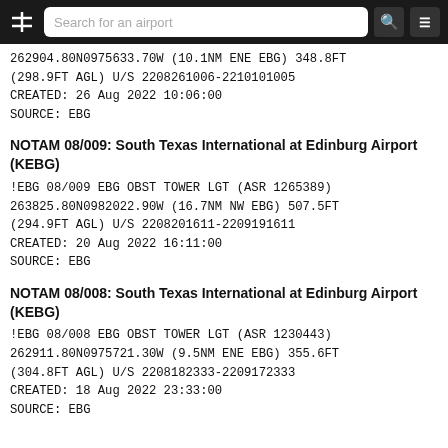Search for an airport
262904.80N0975633.70W (10.1NM ENE EBG) 348.8FT
(298.9FT AGL) U/S 2208261006-2210101005
CREATED: 26 Aug 2022 10:06:00
SOURCE: EBG
NOTAM 08/009: South Texas International at Edinburg Airport (KEBG)
!EBG 08/009 EBG OBST TOWER LGT (ASR 1265389)
263825.80N0982022.90W (16.7NM NW EBG) 507.5FT
(294.9FT AGL) U/S 2208201611-2209191611
CREATED: 20 Aug 2022 16:11:00
SOURCE: EBG
NOTAM 08/008: South Texas International at Edinburg Airport (KEBG)
!EBG 08/008 EBG OBST TOWER LGT (ASR 1230443)
262911.80N0975721.30W (9.5NM ENE EBG) 355.6FT
(304.8FT AGL) U/S 2208182333-2209172333
CREATED: 18 Aug 2022 23:33:00
SOURCE: EBG